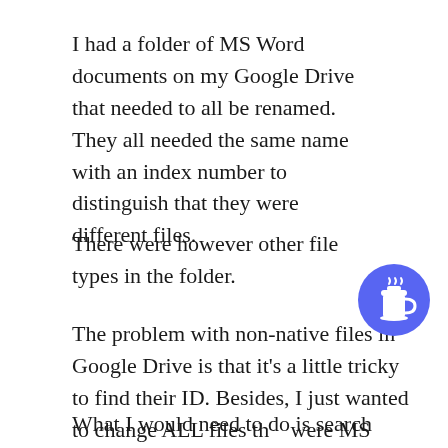I had a folder of MS Word documents on my Google Drive that needed to all be renamed. They all needed the same name with an index number to distinguish that they were different files.
There were however other file types in the folder.
The problem with non-native files in Google Drive is that it's a little tricky to find their ID. Besides, I just wanted to change ALL files that were MS Word in the folder.
What I would need to do is search for all files in the above-referenced folder that are MS Word...